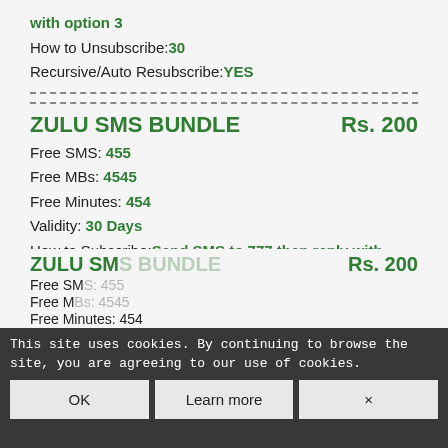with option 3 (green bold) | How to Unsubscribe: 30 | Recursive/Auto Resubscribe: YES
ZULU SMS BUNDLE   Rs. 200
Free SMS: 455
Free MBs: 4545
Free Minutes: 454
Validity: 30 Days
How to Subscribe: Send SMS to 777 then reply with option 3
How to Unsubscribe: 30
Recursive/Auto Resubscribe: YES
This site uses cookies. By continuing to browse the site, you are agreeing to our use of cookies.
OK | Learn more | x
ZULU SMS BUNDLE   Rs. 200
Free SMS: ...
Free MBs: ...
Free Minutes: 454